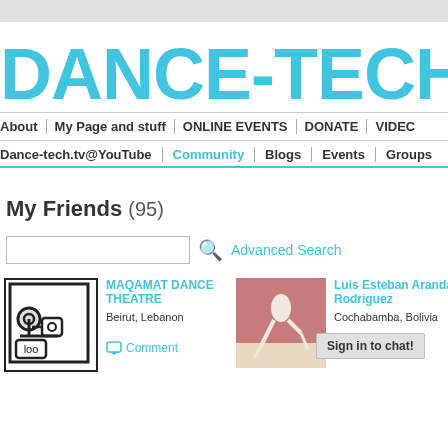DANCE-TECH
About | My Page and stuff | ONLINE EVENTS | DONATE | VIDEO | Dance-tech.tv@YouTube | Community | Blogs | Events | Groups
My Friends (95)
Advanced Search
MAQAMAT DANCE THEATRE
Beirut, Lebanon
Comment
Luis Esteban Aranda Rodriguez
Cochabamba, Bolivia
Sign in to chat!